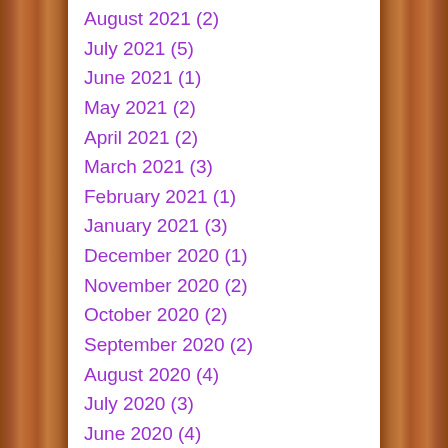August 2021 (2)
July 2021 (5)
June 2021 (1)
May 2021 (2)
April 2021 (2)
March 2021 (3)
February 2021 (1)
January 2021 (3)
December 2020 (1)
November 2020 (2)
October 2020 (2)
September 2020 (2)
August 2020 (4)
July 2020 (3)
June 2020 (4)
May 2020 (3)
April 2020 (1)
March 2020 (3)
February 2020 (2)
January 2020 (2)
December 2019 (2)
November 2019 (2)